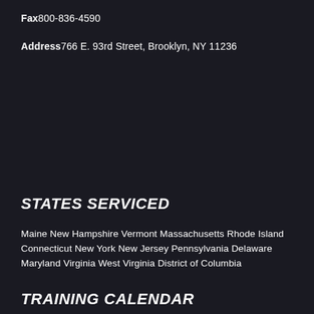Fax800-836-4590
Address766 E. 93rd Street, Brooklyn, NY 11236
STATES SERVICED
Maine New Hampshire Vermont Massachusetts Rhode Island Connecticut New York New Jersey Pennsylvania Delaware Maryland Virginia West Virginia District of Columbia
TRAINING CALENDAR